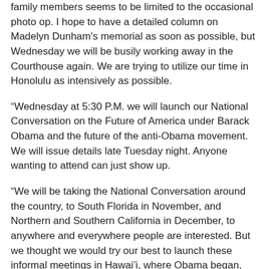family members seems to be limited to the occasional photo op. I hope to have a detailed column on Madelyn Dunham's memorial as soon as possible, but Wednesday we will be busily working away in the Courthouse again. We are trying to utilize our time in Honolulu as intensively as possible.
“Wednesday at 5:30 P.M. we will launch our National Conversation on the Future of America under Barack Obama and the future of the anti-Obama movement. We will issue details late Tuesday night. Anyone wanting to attend can just show up.
“We will be taking the National Conversation around the country, to South Florida in November, and Northern and Southern California in December, to anywhere and everywhere people are interested. But we thought we would try our best to launch these informal meetings in Hawai’i, where Obama began, and where the movement to remove him from office in 2012 should also begin.
“All are welcome to join us for a free form discussion,” Martin stated. “If anyone who was in court Tuesday shows up, they can deliver their own impression of what happened.”